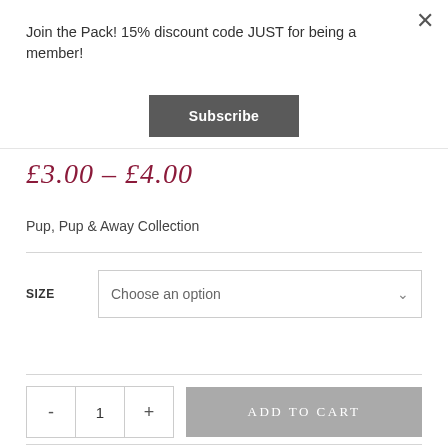Join the Pack! 15% discount code JUST for being a member!
Subscribe
£3.00 – £4.00
Pup, Pup & Away Collection
SIZE  Choose an option
- 1 + ADD TO CART